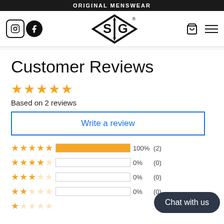ORIGINAL MENSWEAR
[Figure (logo): SIG Original Menswear logo with Instagram and Facebook icons, shopping cart and hamburger menu]
Customer Reviews
Based on 2 reviews
Write a review
| Stars | Percentage | Count |
| --- | --- | --- |
| 5 stars | 100% | (2) |
| 4 stars | 0% | (0) |
| 3 stars | 0% | (0) |
| 2 stars | 0% | (0) |
| 1 star | 0% | (0) |